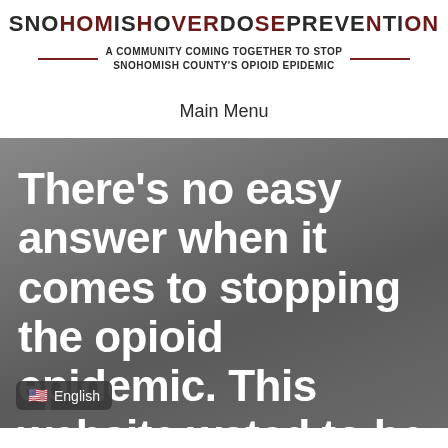SNOHOMISH OVERDOSE PREVENTION
A COMMUNITY COMING TOGETHER TO STOP SNOHOMISH COUNTY'S OPIOID EPIDEMIC
Main Menu
There’s no easy answer when it comes to stopping the opioid epidemic. This website w…ated to be a one-
English